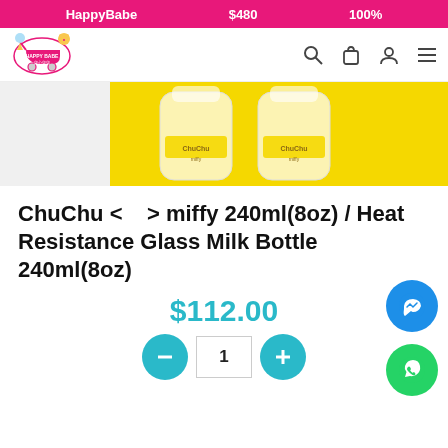HappyBabe   $480   100%
[Figure (logo): HappyBabe store logo with baby stroller, pink theme]
[Figure (photo): Two glass milk bottles on yellow background - ChuChu miffy product]
ChuChu < > miffy 240ml(8oz) / Heat Resistance Glass Milk Bottle 240ml(8oz)
$112.00
1